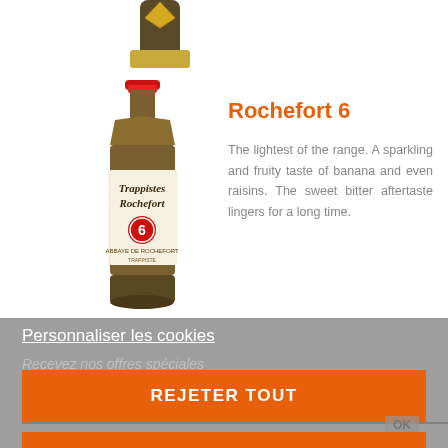[Figure (photo): Partial top of a beer bottle (dark glass, yellow/gold label cap area) cropped at top of page]
[Figure (photo): Trappistes Rochefort 6 beer bottle — dark amber glass bottle with red cap and cream-colored label reading 'Trappistes Rochefort' with a red circle '6' badge]
Rochefort 6
The lightest of the range. A sparkling and fruity taste of banana and even raisins. The sweet bitter aftertaste lingers for a long time.
Personnaliser les cookies
Recevez nos offres spéciales
REJETER TOUT